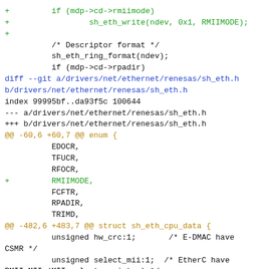[Figure (screenshot): A Git diff code snippet showing changes to Linux kernel ethernet driver files sh_eth.c and sh_eth.h, with added lines in green (+), context lines in black, and diff headers in blue and gold/yellow.]